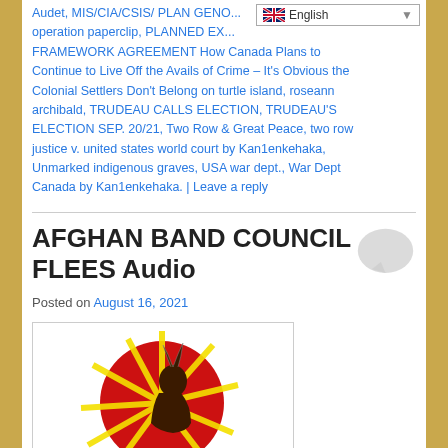Audet, MIS/CIA/CSIS/ PLAN GENO... operation paperclip, PLANNED EX... FRAMEWORK AGREEMENT How Canada Plans to Continue to Live Off the Avails of Crime – It's Obvious the Colonial Settlers Don't Belong on turtle island, roseann archibald, TRUDEAU CALLS ELECTION, TRUDEAU'S ELECTION SEP. 20/21, Two Row & Great Peace, two row justice v. united states world court by Kan1enkehaka, Unmarked indigenous graves, USA war dept., War Dept Canada by Kan1enkehaka. | Leave a reply
AFGHAN BAND COUNCIL FLEES Audio
Posted on August 16, 2021
[Figure (illustration): Circular logo with red background showing a Native American warrior silhouette with yellow sunburst rays radiating outward]